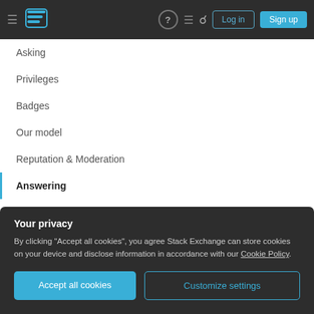Stack Exchange navigation bar with hamburger menu, logo, help icon, feedback icon, search icon, Log in button, Sign up button
Asking
Privileges
Badges
Our model
Reputation & Moderation
Answering
How do I write a good answer?
What does it mean when an answer is "accepted"?
Why are answers no longer being accepted from my
Your privacy
By clicking "Accept all cookies", you agree Stack Exchange can store cookies on your device and disclose information in accordance with our Cookie Policy.
Accept all cookies  Customize settings